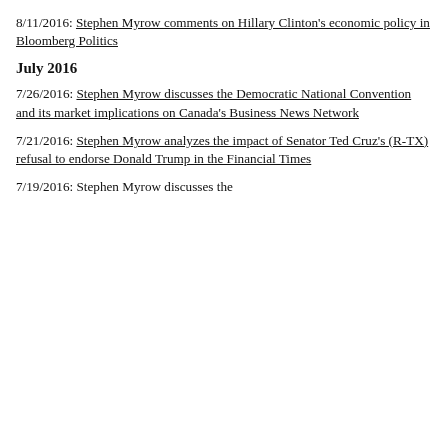8/11/2016: Stephen Myrow comments on Hillary Clinton's economic policy in Bloomberg Politics
July 2016
7/26/2016: Stephen Myrow discusses the Democratic National Convention and its market implications on Canada's Business News Network
7/21/2016: Stephen Myrow analyzes the impact of Senator Ted Cruz's (R-TX) refusal to endorse Donald Trump in the Financial Times
7/19/2016: Stephen Myrow discusses the